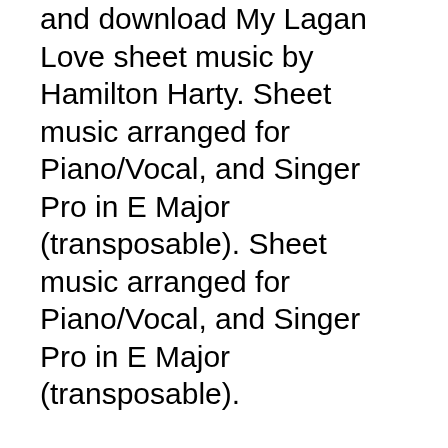and download My Lagan Love sheet music by Hamilton Harty. Sheet music arranged for Piano/Vocal, and Singer Pro in E Major (transposable). Sheet music arranged for Piano/Vocal, and Singer Pro in E Major (transposable).
These piano/vocal/chord arrangements are based on Celtic Woman's PBS TV special and 2010 tour. This book showcases their unforgettable style and features 4 pages of color photos. Voice Of An Angel sheet music - Piano/Vocal/Guitar sheet music by Charlotte Church: Hal Leonard. Shop the World's Largest Sheet Music Selection today at Sheet Music Plus. Shop the World's Largest Sheet Music Selection